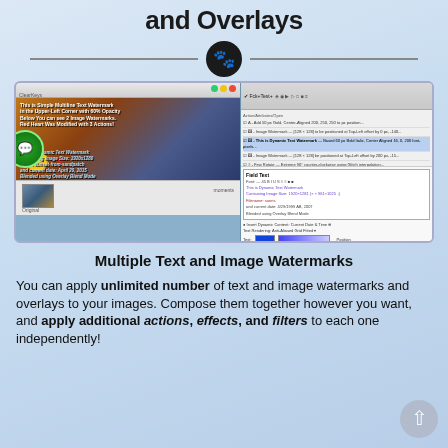and Overlays
[Figure (screenshot): Screenshot of ClearKeys software showing image watermarking interface with multiple text and image watermarks applied to a photo, including a dynamic text watermark and image watermarks, alongside the application's action sequence panel.]
Multiple Text and Image Watermarks
You can apply unlimited number of text and image watermarks and overlays to your images. Compose them together however you want, and apply additional actions, effects, and filters to each one independently!